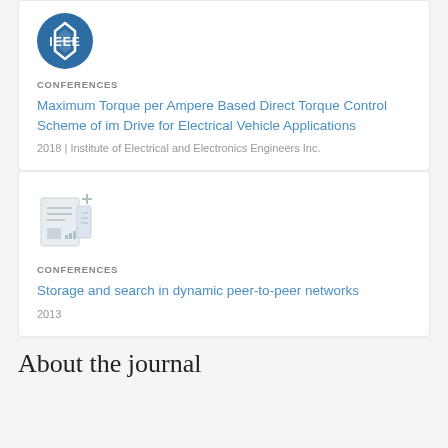[Figure (logo): IEEE blue circular logo with diamond shape]
CONFERENCES
Maximum Torque per Ampere Based Direct Torque Control Scheme of im Drive for Electrical Vehicle Applications
2018 | Institute of Electrical and Electronics Engineers Inc.
[Figure (illustration): Document/paper icon with a plus sign]
CONFERENCES
Storage and search in dynamic peer-to-peer networks
2013
About the journal